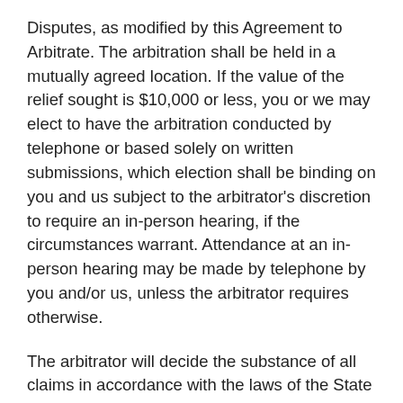Disputes, as modified by this Agreement to Arbitrate. The arbitration shall be held in a mutually agreed location. If the value of the relief sought is $10,000 or less, you or we may elect to have the arbitration conducted by telephone or based solely on written submissions, which election shall be binding on you and us subject to the arbitrator's discretion to require an in-person hearing, if the circumstances warrant. Attendance at an in-person hearing may be made by telephone by you and/or us, unless the arbitrator requires otherwise.
The arbitrator will decide the substance of all claims in accordance with the laws of the State of Montana, including recognized principles of equity, and will honor all claims of privilege recognized by law. The arbitrator shall not be bound by rulings in prior arbitrations involving our other users but is bound by rulings in prior arbitrations involving the same user to the extent